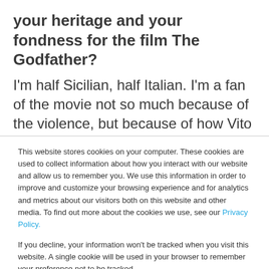your heritage and your fondness for the film The Godfather?
I'm half Sicilian, half Italian. I'm a fan of the movie not so much because of the violence, but because of how Vito and Michael Corleone think. In the case of Vito, he worked his way up and through
This website stores cookies on your computer. These cookies are used to collect information about how you interact with our website and allow us to remember you. We use this information in order to improve and customize your browsing experience and for analytics and metrics about our visitors both on this website and other media. To find out more about the cookies we use, see our Privacy Policy.
If you decline, your information won't be tracked when you visit this website. A single cookie will be used in your browser to remember your preference not to be tracked.